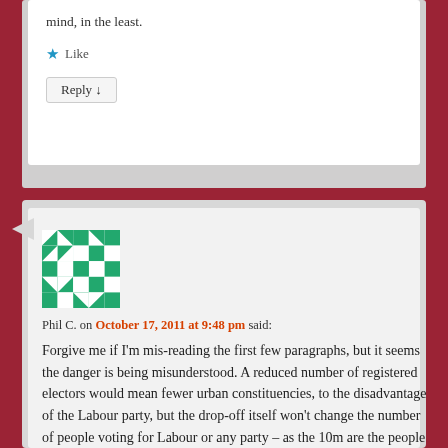mind, in the least.
Like
Reply ↓
Phil C. on October 17, 2011 at 9:48 pm said:
Forgive me if I'm mis-reading the first few paragraphs, but it seems the danger is being misunderstood. A reduced number of registered electors would mean fewer urban constituencies, to the disadvantage of the Labour party, but the drop-off itself won't change the number of people voting for Labour or any party – as the 10m are the people who